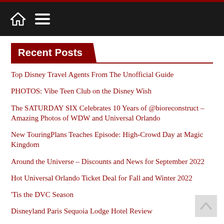Navigation bar with home icon and menu icon
Recent Posts
Top Disney Travel Agents From The Unofficial Guide
PHOTOS: Vibe Teen Club on the Disney Wish
The SATURDAY SIX Celebrates 10 Years of @bioreconstruct – Amazing Photos of WDW and Universal Orlando
New TouringPlans Teaches Episode: High-Crowd Day at Magic Kingdom
Around the Universe – Discounts and News for September 2022
Hot Universal Orlando Ticket Deal for Fall and Winter 2022
'Tis the DVC Season
Disneyland Paris Sequoia Lodge Hotel Review
How to Have a Great First Time at Disney's Castaway Cay
A Guide to Allergy Friendly Trick-or-Treating at Mickey's Not So Scary